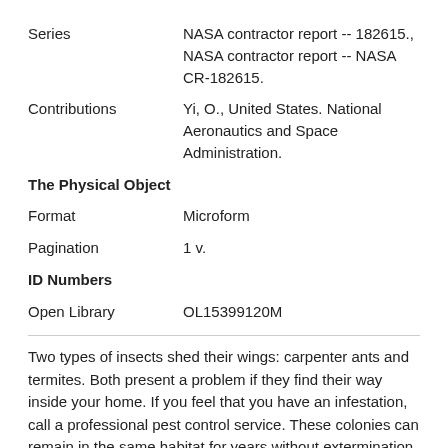| Series | NASA contractor report -- 182615., NASA contractor report -- NASA CR-182615. |
| Contributions | Yi, O., United States. National Aeronautics and Space Administration. |
| The Physical Object |  |
| Format | Microform |
| Pagination | 1 v. |
| ID Numbers |  |
| Open Library | OL15399120M |
Two types of insects shed their wings: carpenter ants and termites. Both present a problem if they find their way inside your home. If you feel that you have an infestation, call a professional pest control service. These colonies can remain in the same habitat for years without extermination. Start studying Science Chapter Insects and Other Arthropods. Learn vocabulary, terms, and more with flashcards, games, and other study tools. "With the exception of the butterflies most insects fly at , beats/second and many have therefore avoided